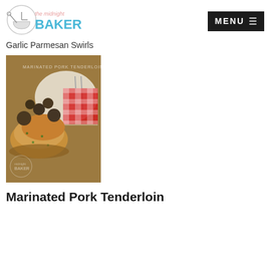[Figure (logo): The Midnight Baker logo with bowl and text]
[Figure (other): MENU button with hamburger icon on dark background]
Garlic Parmesan Swirls
[Figure (photo): Photo of Marinated Pork Tenderloin dish with mushrooms on a plate with red checkered napkin, watermarked with midnight baker logo]
Marinated Pork Tenderloin